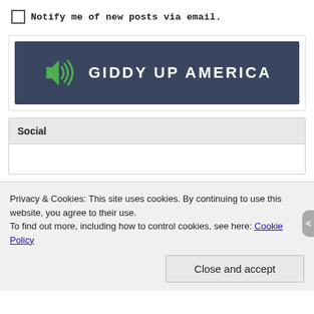Notify me of new posts via email.
[Figure (logo): Giddy Up America logo: dark navy background with green speaker/sound icon and white bold uppercase text 'GIDDY UP AMERICA']
Social
Privacy & Cookies: This site uses cookies. By continuing to use this website, you agree to their use.
To find out more, including how to control cookies, see here: Cookie Policy
Close and accept